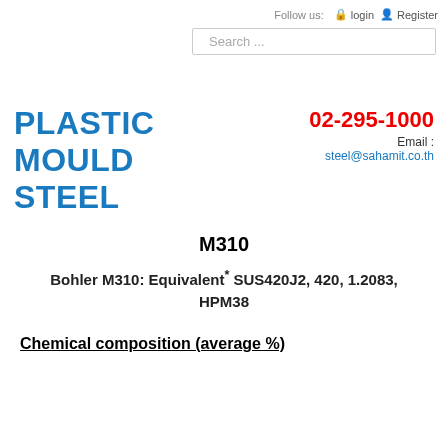Follow us:  login  Register
Search ...
PLASTIC MOULD STEEL
02-295-1000
Email : steel@sahamit.co.th
M310
Bohler M310: Equivalent* SUS420J2, 420, 1.2083, HPM38
Chemical composition (average %)